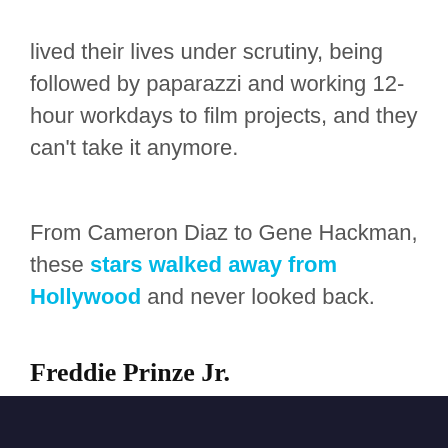lived their lives under scrutiny, being followed by paparazzi and working 12-hour workdays to film projects, and they can't take it anymore.
From Cameron Diaz to Gene Hackman, these stars walked away from Hollywood and never looked back.
Freddie Prinze Jr.
[Figure (photo): Dark bottom strip showing a partial photo, appears to be a dark scene with a person barely visible]